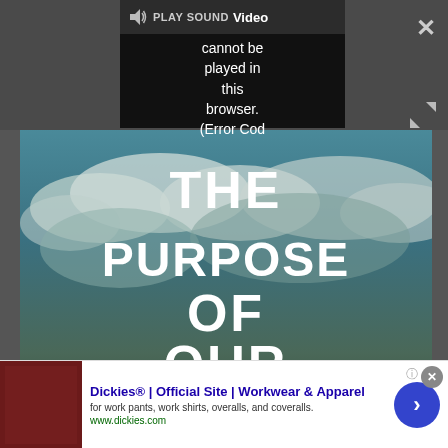[Figure (screenshot): Video player showing error: 'PLAY SOUND Video cannot be played in this browser. (Error Cod' on dark background with close and expand buttons]
[Figure (screenshot): Video thumbnail showing text 'THE PURPOSE OF OUR LIVES' in large white bold text over a cloudy sky background]
Looks like you're in the US! Visit Digital
[Figure (screenshot): Advertisement banner: Dickies® | Official Site | Workwear & Apparel - for work pants, work shirts, overalls, and coveralls. www.dickies.com]